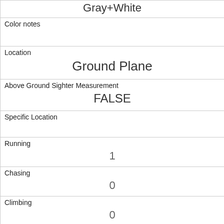| Gray+White |
| Color notes |  |
| Location | Ground Plane |
| Above Ground Sighter Measurement | FALSE |
| Specific Location |  |
| Running | 1 |
| Chasing | 0 |
| Climbing | 0 |
| Eating | 0 |
| Foraging | 1 |
| Other Activities |  |